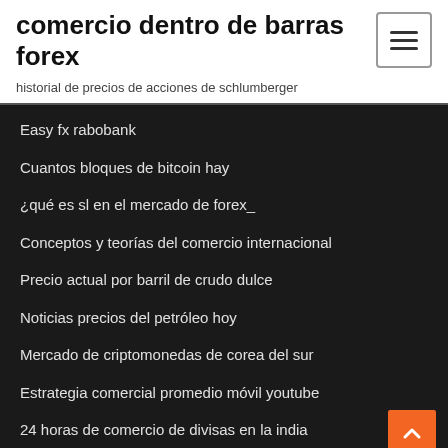comercio dentro de barras forex
historial de precios de acciones de schlumberger
Easy fx rabobank
Cuantos bloques de bitcoin hay
¿qué es sl en el mercado de forex_
Conceptos y teorías del comercio internacional
Precio actual por barril de crudo dulce
Noticias precios del petróleo hoy
Mercado de criptomonedas de corea del sur
Estrategia comercial promedio móvil youtube
24 horas de comercio de divisas en la india
Analista de comercio de petróleo